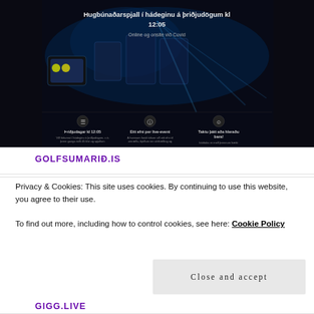[Figure (screenshot): Screenshot of a dark-themed webpage with Icelandic text 'Hugbúnaðarspjall í hádeginu á þriðjudögum kl 12:05', subtitle 'Online og onsite við Covid', and three icon sections: 'Þriðjudagar kl 12:05', 'Eitt efni per live-event', 'Taktu þátt eða hleraðu bara!']
GOLFSUMARIÐ.IS
Privacy & Cookies: This site uses cookies. By continuing to use this website, you agree to their use.
To find out more, including how to control cookies, see here: Cookie Policy
Close and accept
GIGG.LIVE